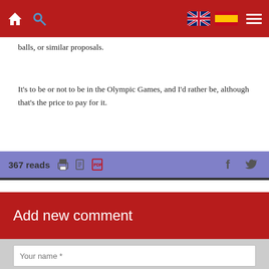Navigation bar with home, search, UK flag, Spain flag, and hamburger menu
balls, or similar proposals.
It’s to be or not to be in the Olympic Games, and I’d rather be, although that’s the price to pay for it.
367 reads
Add new comment
Your name *